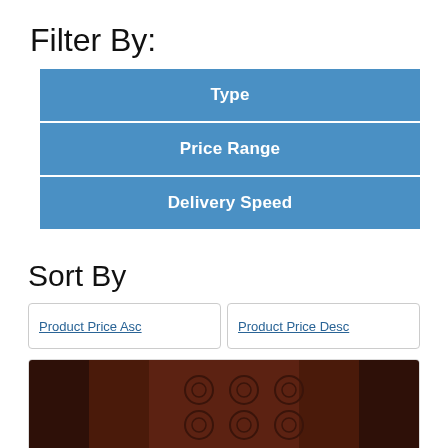Filter By:
Type
Price Range
Delivery Speed
Sort By
Product Price Asc
Product Price Desc
[Figure (photo): Product image showing a dark brown patterned rug or textile with floral/sunburst motifs on a darker border background]